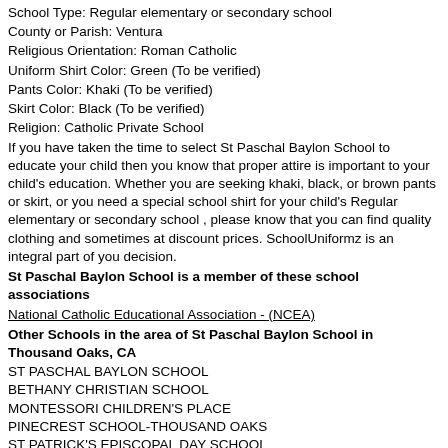School Type: Regular elementary or secondary school
County or Parish: Ventura
Religious Orientation: Roman Catholic
Uniform Shirt Color: Green (To be verified)
Pants Color: Khaki (To be verified)
Skirt Color: Black (To be verified)
Religion: Catholic Private School
If you have taken the time to select St Paschal Baylon School to educate your child then you know that proper attire is important to your child's education. Whether you are seeking khaki, black, or brown pants or skirt, or you need a special school shirt for your child's Regular elementary or secondary school , please know that you can find quality clothing and sometimes at discount prices. SchoolUniformz is an integral part of you decision.
St Paschal Baylon School is a member of these school associations
National Catholic Educational Association - (NCEA)
Other Schools in the area of St Paschal Baylon School in Thousand Oaks, CA
ST PASCHAL BAYLON SCHOOL
BETHANY CHRISTIAN SCHOOL
MONTESSORI CHILDREN'S PLACE
PINECREST SCHOOL-THOUSAND OAKS
ST PATRICK'S EPISCOPAL DAY SCHOOL
HONEY TREE EARLY CHILDHOOD CENTER
KINDERCARE LEARNING CENTER
FIRST BAPTIST ACADEMY
CALIFORNIA LEARNING CENTER-THOUSAND OAKS
ASCENSION LUTHERAN SCHOOL
HILLCREST CHRISTIAN SCHOOL
WESTLAKE MONTESSORI SCHOOL
LITTLE OAKS SCHOOL
CHILDREN'S LEARNING CENTER